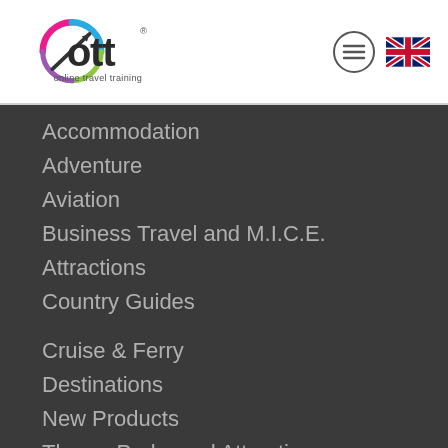[Figure (logo): OTT online travel training logo with colorful circular graphic and text]
Accommodation
Adventure
Aviation
Business Travel and M.I.C.E.
Attractions
Country Guides
Cruise & Ferry
Destinations
New Products
Theme Parks and Attractions
Tour Operator
LGBT